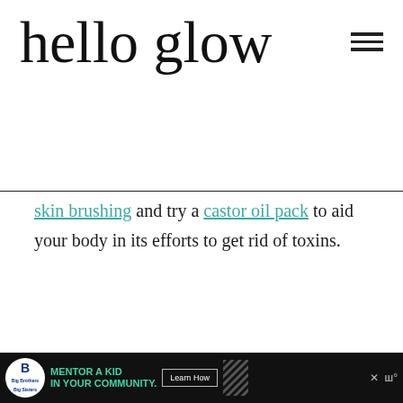hello glow
skin brushing and try a castor oil pack to aid your body in its efforts to get rid of toxins.
[Figure (other): Advertisement banner reading 'From Hello to Help, 211 is Here' with a close button]
[Figure (other): Bottom advertisement bar: Big Brothers Big Sisters logo, 'MENTOR A KID IN YOUR COMMUNITY.' in teal, Learn How button, diagonal stripe graphic, close button, WM logo]